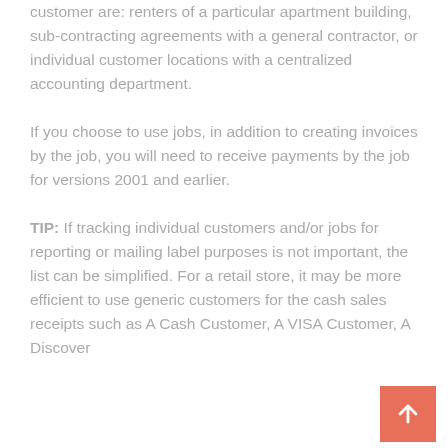customer are: renters of a particular apartment building, sub-contracting agreements with a general contractor, or individual customer locations with a centralized accounting department.
If you choose to use jobs, in addition to creating invoices by the job, you will need to receive payments by the job for versions 2001 and earlier.
TIP: If tracking individual customers and/or jobs for reporting or mailing label purposes is not important, the list can be simplified. For a retail store, it may be more efficient to use generic customers for the cash sales receipts such as A Cash Customer, A VISA Customer, A Discover